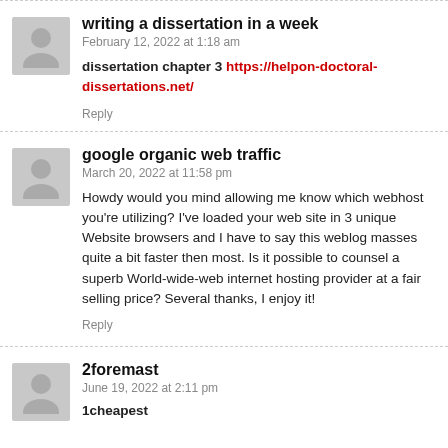writing a dissertation in a week
February 12, 2022 at 1:18 am
dissertation chapter 3 https://helpon-doctoral-dissertations.net/
Reply
google organic web traffic
March 20, 2022 at 11:58 pm
Howdy would you mind allowing me know which webhost you’re utilizing? I've loaded your web site in 3 unique Website browsers and I have to say this weblog masses quite a bit faster then most. Is it possible to counsel a superb World-wide-web internet hosting provider at a fair selling price? Several thanks, I enjoy it!
Reply
2foremast
June 19, 2022 at 2:11 pm
1cheapest